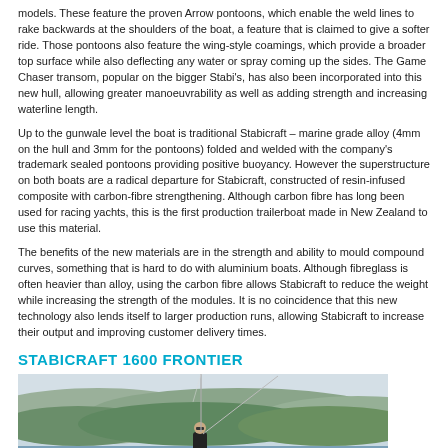models. These feature the proven Arrow pontoons, which enable the weld lines to rake backwards at the shoulders of the boat, a feature that is claimed to give a softer ride. Those pontoons also feature the wing-style coamings, which provide a broader top surface while also deflecting any water or spray coming up the sides. The Game Chaser transom, popular on the bigger Stabi's, has also been incorporated into this new hull, allowing greater manoeuvrability as well as adding strength and increasing waterline length.
Up to the gunwale level the boat is traditional Stabicraft – marine grade alloy (4mm on the hull and 3mm for the pontoons) folded and welded with the company's trademark sealed pontoons providing positive buoyancy. However the superstructure on both boats are a radical departure for Stabicraft, constructed of resin-infused composite with carbon-fibre strengthening. Although carbon fibre has long been used for racing yachts, this is the first production trailerboat made in New Zealand to use this material.
The benefits of the new materials are in the strength and ability to mould compound curves, something that is hard to do with aluminium boats. Although fibreglass is often heavier than alloy, using the carbon fibre allows Stabicraft to reduce the weight while increasing the strength of the modules. It is no coincidence that this new technology also lends itself to larger production runs, allowing Stabicraft to increase their output and improving customer delivery times.
STABICRAFT 1600 FRONTIER
[Figure (photo): Photograph of a person fishing from a Stabicraft 1600 Frontier boat on water, with green hills and hazy sky in the background. Two fishing rods are visible extending upward.]